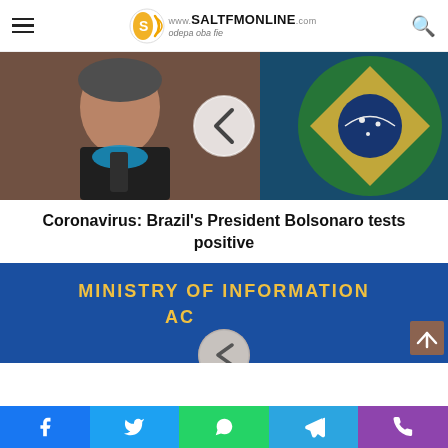www.SALTFMONLINE.com odepa oba fie
[Figure (photo): Brazil's President Bolsonaro at a press conference, pulling down his face mask, with the Brazilian flag crest visible in the background. A navigation left arrow overlay is shown in the center of the image.]
Coronavirus: Brazil's President Bolsonaro tests positive
[Figure (photo): A blue background banner reading 'MINISTRY OF INFORMATION ACG...' with a circular navigation arrow overlay and a brown scroll-to-top button in the corner.]
Social sharing buttons: Facebook, Twitter, WhatsApp, Telegram, Phone